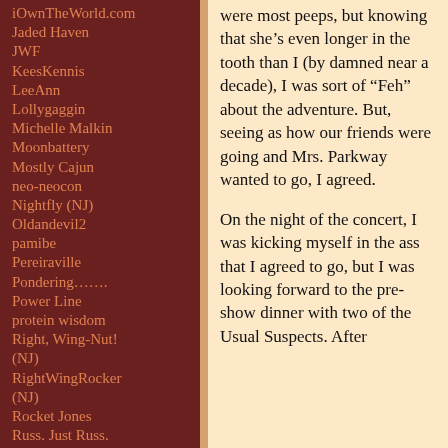iOwnTheWorld.com
Jaded Haven
JWF
KeesKennis
LeeAnn
Lollygaggin
Michelle Malkin
Moonbattery
Mostly Cajun
neo-neocon
Nightfly (NJ)
Oldandevil2
pamibe
Pereiraville
Pondering…….
Power Line
protein wisdom
Right, Wing-Nut! (NJ)
RightWingRocker (NJ)
Rocket Jones
Russ. Just Russ.
ScrappleFace
Serenity’s Journal
Sheri Gilmour
Shorpy
Sinnican Cottage
were most peeps, but knowing that she’s even longer in the tooth than I (by damned near a decade), I was sort of “Feh” about the adventure. But, seeing as how our friends were going and Mrs. Parkway wanted to go, I agreed.
On the night of the concert, I was kicking myself in the ass that I agreed to go, but I was looking forward to the pre-show dinner with two of the Usual Suspects. After